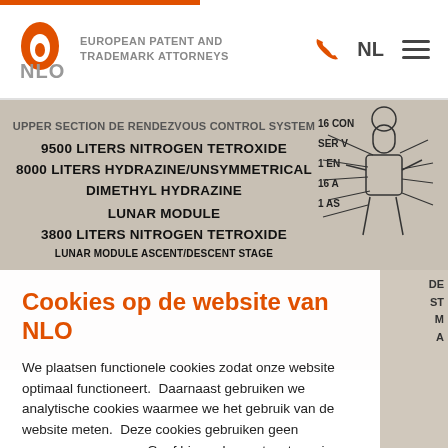NLO — European Patent and Trademark Attorneys | NL
[Figure (schematic): Technical diagram of spacecraft (Apollo lunar module) with labels: 9500 LITERS NITROGEN TETROXIDE, 8000 LITERS HYDRAZINE/UNSYMMETRICAL DIMETHYL HYDRAZINE, LUNAR MODULE, 3800 LITERS NITROGEN TETROXIDE, with partial labels on the right: 16 CON, SERV, 1 EN, 16 A, 1 AS]
Cookies op de website van NLO
We plaatsen functionele cookies zodat onze website optimaal functioneert.  Daarnaast gebruiken we analytische cookies waarmee we het gebruik van de website meten.  Deze cookies gebruiken geen persoonsgegevens.  Geef hieronder uw toestemming voor cookies die wel persoonsgegevens verwerken.
Meer informatie over cookies.